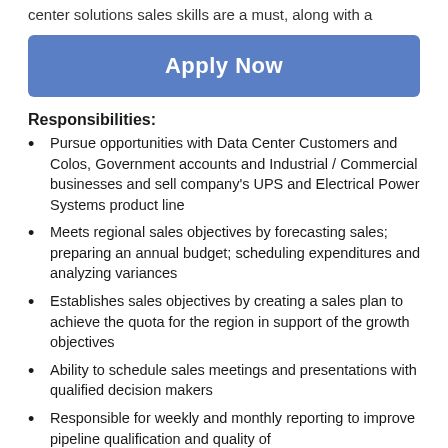center solutions sales skills are a must, along with a
Apply Now
Responsibilities:
Pursue opportunities with Data Center Customers and Colos, Government accounts and Industrial / Commercial businesses and sell company's UPS and Electrical Power Systems product line
Meets regional sales objectives by forecasting sales; preparing an annual budget; scheduling expenditures and analyzing variances
Establishes sales objectives by creating a sales plan to achieve the quota for the region in support of the growth objectives
Ability to schedule sales meetings and presentations with qualified decision makers
Responsible for weekly and monthly reporting to improve pipeline qualification and quality of